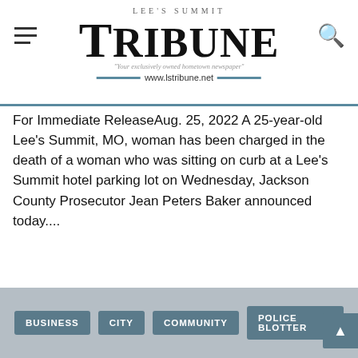Lee's Summit Tribune — www.lstribune.net
For Immediate ReleaseAug. 25, 2022 A 25-year-old Lee's Summit, MO, woman has been charged in the death of a woman who was sitting on curb at a Lee's Summit hotel parking lot on Wednesday, Jackson County Prosecutor Jean Peters Baker announced today....
CONTINUE READING
BUSINESS  CITY  COMMUNITY  POLICE BLOTTER